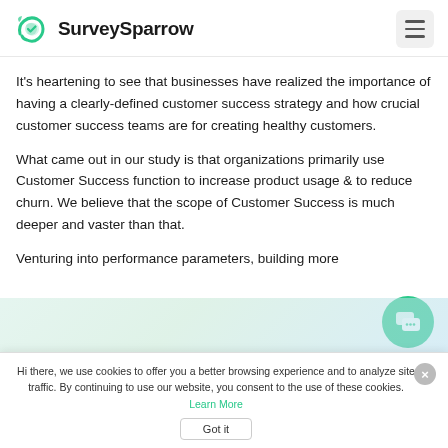SurveySparrow
It's heartening to see that businesses have realized the importance of having a clearly-defined customer success strategy and how crucial customer success teams are for creating healthy customers.
What came out in our study is that organizations primarily use Customer Success function to increase product usage & to reduce churn. We believe that the scope of Customer Success is much deeper and vaster than that.
Venturing into performance parameters, building more
[Figure (illustration): Blurred/partially visible content section at bottom of page]
Hi there, we use cookies to offer you a better browsing experience and to analyze site traffic. By continuing to use our website, you consent to the use of these cookies. Learn More
Got it